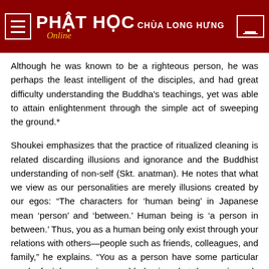PHẬT HỌC CHÙA LONG HƯNG Online
Although he was known to be a righteous person, he was perhaps the least intelligent of the disciples, and had great difficulty understanding the Buddha's teachings, yet was able to attain enlightenment through the simple act of sweeping the ground.*
Shoukei emphasizes that the practice of ritualized cleaning is related discarding illusions and ignorance and the Buddhist understanding of non-self (Skt. anatman). He notes that what we view as our personalities are merely illusions created by our egos: “The characters for ‘human being’ in Japanese mean ‘person’ and ‘between.’ Human being is ‘a person in between.’ Thus, you as a human being only exist through your relations with others—people such as friends, colleagues, and family,” he explains. “You as a person have some particular words, facial expressions and behaviors, but these arise only through your interactions and conversations with others.” This